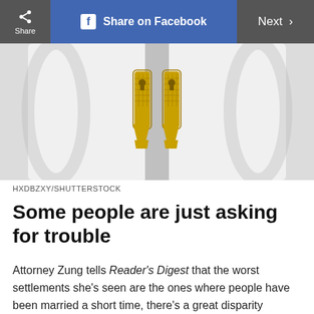Share | Share on Facebook | Next >
[Figure (photo): White double doors with ornate gold keyhole hardware/locks]
HXDBZXY/SHUTTERSTOCK
Some people are just asking for trouble
Attorney Zung tells Reader's Digest that the worst settlements she's seen are the ones where people have been married a short time, there's a great disparity between their incomes or net worth, and there's no prenuptial agreement. “For